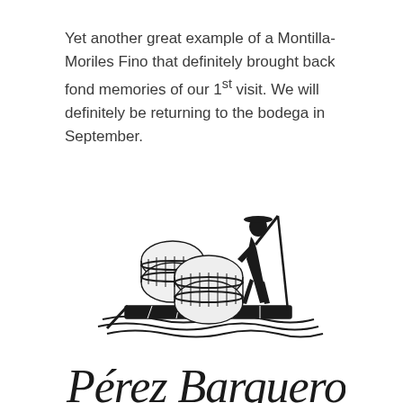Yet another great example of a Montilla-Moriles Fino that definitely brought back fond memories of our 1st visit. We will definitely be returning to the bodega in September.
[Figure (logo): Perez Barquero logo: a man on a raft with wine barrels, with cursive text 'Perez Barquero' below]